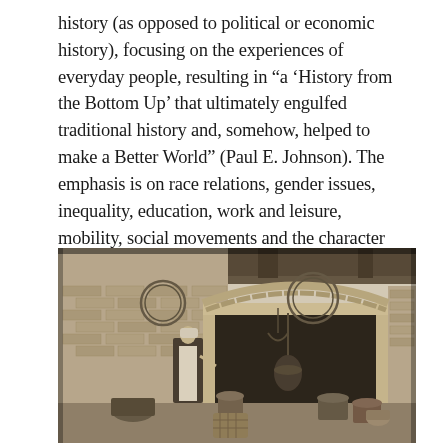history (as opposed to political or economic history), focusing on the experiences of everyday people, resulting in "a 'History from the Bottom Up' that ultimately engulfed traditional history and, somehow, helped to make a Better World" (Paul E. Johnson). The emphasis is on race relations, gender issues, inequality, education, work and leisure, mobility, social movements and the character and condition of the working class.
[Figure (photo): Black and white historical photograph of a person standing at a large fireplace/hearth in what appears to be a rustic kitchen. The person is wearing an apron and head covering, tending to cooking pots and equipment arranged in front of the brick fireplace. Various kitchen implements, pots, and baskets are visible.]